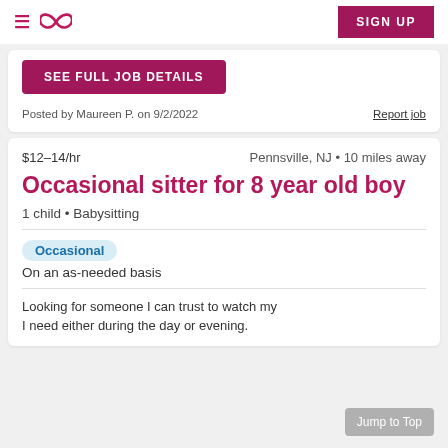Care.com navigation with SIGN UP button
SEE FULL JOB DETAILS
Posted by Maureen P. on 9/2/2022    Report job
$12–14/hr    Pennsville, NJ • 10 miles away
Occasional sitter for 8 year old boy
1 child • Babysitting
Occasional
On an as-needed basis
Looking for someone I can trust to watch my I need either during the day or evening.